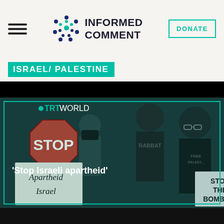Informed Comment
ISRAEL/ PALESTINE
[Figure (screenshot): TRT World news screenshot showing protest scene. People holding signs reading 'Stop', 'Apartheid Israel', 'STOP THE BOMBING'. Caption overlay reads 'Stop Israeli apartheid'.]